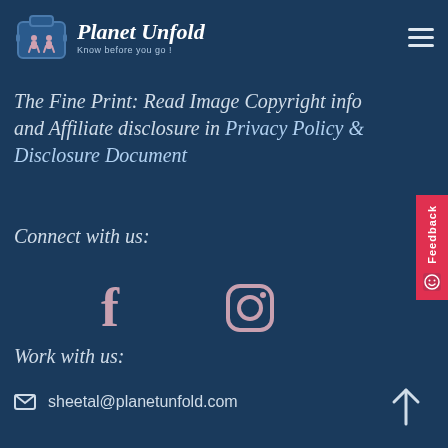[Figure (logo): Planet Unfold logo with suitcase icon and text 'Planet Unfold / Know before you go!']
The Fine Print: Read Image Copyright info and Affiliate disclosure in Privacy Policy & Disclosure Document
Connect with us:
[Figure (illustration): Social media icons: Facebook (f) and Instagram (camera icon)]
Work with us:
sheetal@planetunfold.com
[Figure (illustration): Feedback tab on right side with smiley icon]
[Figure (illustration): Arrow up icon at bottom right]